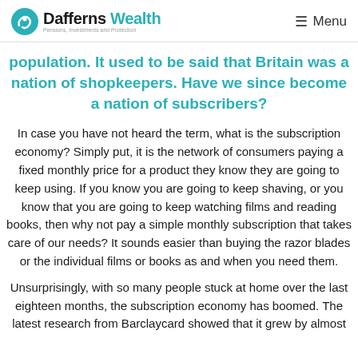Dafferns Wealth — Menu
population. It used to be said that Britain was a nation of shopkeepers. Have we since become a nation of subscribers?
In case you have not heard the term, what is the subscription economy? Simply put, it is the network of consumers paying a fixed monthly price for a product they know they are going to keep using. If you know you are going to keep shaving, or you know that you are going to keep watching films and reading books, then why not pay a simple monthly subscription that takes care of our needs? It sounds easier than buying the razor blades or the individual films or books as and when you need them.
Unsurprisingly, with so many people stuck at home over the last eighteen months, the subscription economy has boomed. The latest research from Barclaycard showed that it grew by almost